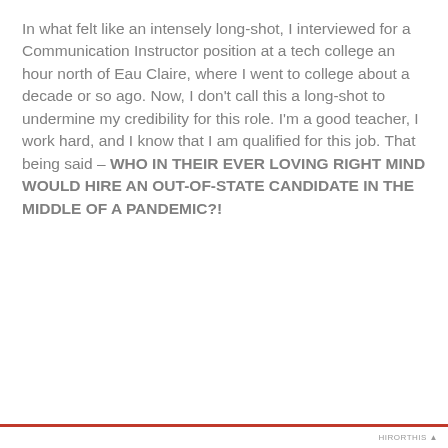In what felt like an intensely long-shot, I interviewed for a Communication Instructor position at a tech college an hour north of Eau Claire, where I went to college about a decade or so ago. Now, I don't call this a long-shot to undermine my credibility for this role. I'm a good teacher, I work hard, and I know that I am qualified for this job. That being said – WHO IN THEIR EVER LOVING RIGHT MIND WOULD HIRE AN OUT-OF-STATE CANDIDATE IN THE MIDDLE OF A PANDEMIC?!
Privacy & Cookies: This site uses cookies. By continuing to use this website, you agree to their use.
To find out more, including how to control cookies, see here: Cookie Policy